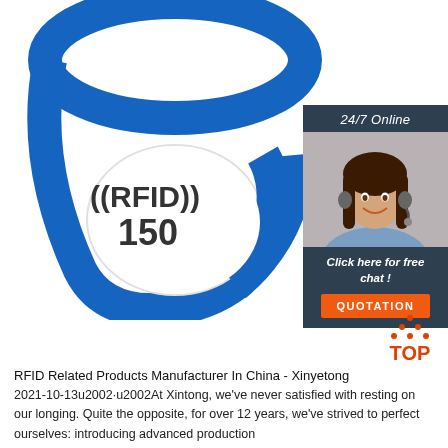[Figure (photo): Blue RFID silicone wristband with white oval face showing ((RFID)) 150 text]
[Figure (infographic): 24/7 Online chat box with female customer service agent photo, Click here for free chat text, and orange QUOTATION button]
[Figure (logo): TOP badge logo with orange dots and red-orange text]
RFID Related Products Manufacturer In China - Xinyetong 2021-10-13u2002·u2002At Xintong, we've never satisfied with resting on our longing. Quite the opposite, for over 12 years, we've strived to perfect ourselves: introducing advanced production